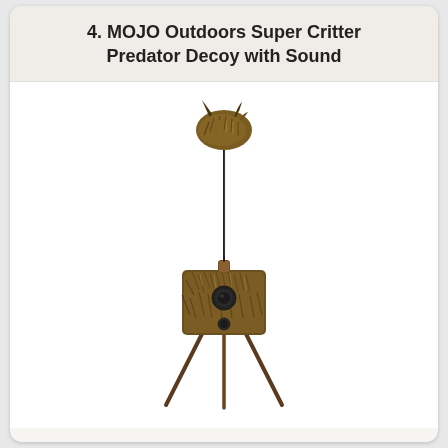4. MOJO Outdoors Super Critter Predator Decoy with Sound
[Figure (photo): Product photo of MOJO Outdoors Super Critter Predator Decoy with Sound — a fur-covered rectangular electronic box mounted on a tripod stand, with a thin metal rod extending upward topped by a fur/feather decoy critter on top.]